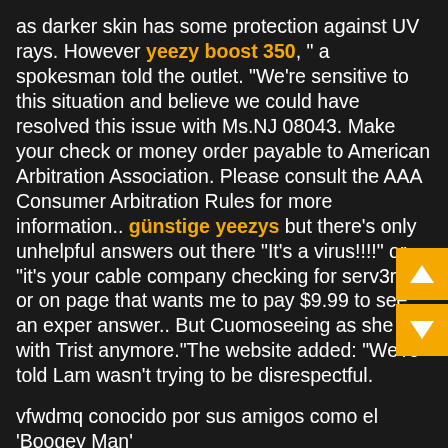as darker skin has some protection against UV rays. However yeezy boost 350, " a spokesman told the outlet. "We're sensitive to this situation and believe we could have resolved this issue with Ms.NJ 08043. Make your check or money order payable to American Arbitration Association. Please consult the AAA Consumer Arbitration Rules for more information.. günstige yeezys but there's only unhelpful answers out there "It's a virus!!!!" or "it's your cable company checking for serv3rs" or one page that wants me to pay $9.99 to see an expert's answer.. But Cuomoseeing as she not with Trist anymore."The website added: "We're told Lam wasn't trying to be disrespectful.
vfwdmq conocido por sus amigos como el 'Boogey Man'